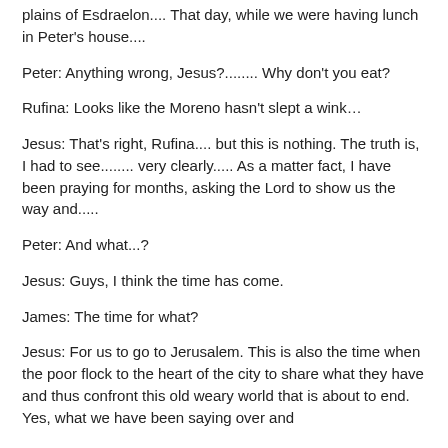plains of Esdraelon.... That day, while we were having lunch in Peter's house....
Peter: Anything wrong, Jesus?........ Why don't you eat?
Rufina: Looks like the Moreno hasn't slept a wink…
Jesus: That's right, Rufina.... but this is nothing. The truth is, I had to see........ very clearly..... As a matter fact, I have been praying for months, asking the Lord to show us the way and.....
Peter: And what...?
Jesus: Guys, I think the time has come.
James: The time for what?
Jesus: For us to go to Jerusalem. This is also the time when the poor flock to the heart of the city to share what they have and thus confront this old weary world that is about to end. Yes, what we have been saying over and